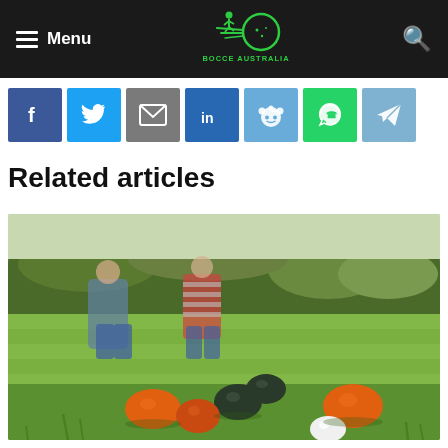Menu | Bocce Australia | Search
[Figure (illustration): Social sharing icons: Facebook, Twitter, Email, LinkedIn, Reddit, WhatsApp, Telegram]
Related articles
[Figure (photo): Two people standing on a green lawn playing bocce, with orange and dark green/black bocce balls and a white pallino on the grass in the foreground, trees and garden in the background]